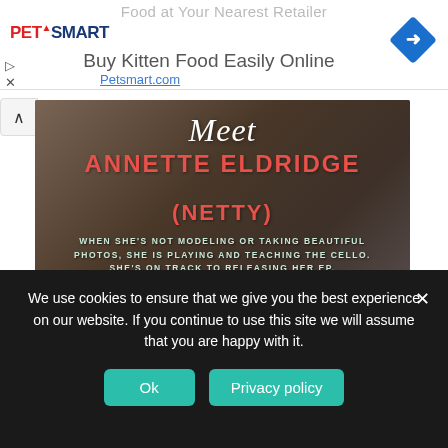Food at Your Nearest Retailer
[Figure (photo): PetSmart advertisement banner with logo, 'Buy Kitten Food Easily Online' headline, and blue diamond navigation icon]
[Figure (photo): Promotional image with motorcycle background showing text: Meet ANNETTE ELDRIDGE (NETTY) - When she's not modeling or taking beautiful photos, she is playing and teaching the cello. She's on track to releasing her EP.]
Annette Eldridge
July 19, 2020
We use cookies to ensure that we give you the best experience on our website. If you continue to use this site we will assume that you are happy with it.